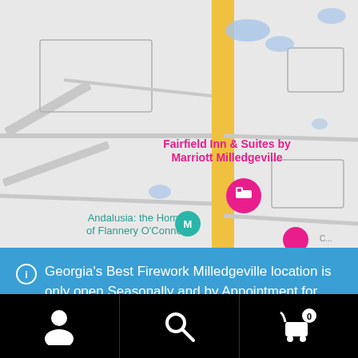[Figure (map): Google Maps view showing Fairfield Inn & Suites by Marriott Milledgeville and Andalusia: the Home of Flannery O'Connor, with a yellow road running vertically, blue water bodies, and map pins.]
Georgia's Best Firework Milledgeville location is only open Seasonally and by Appointment for large event sales. Call 478-250-1500 for more information.
Dismiss